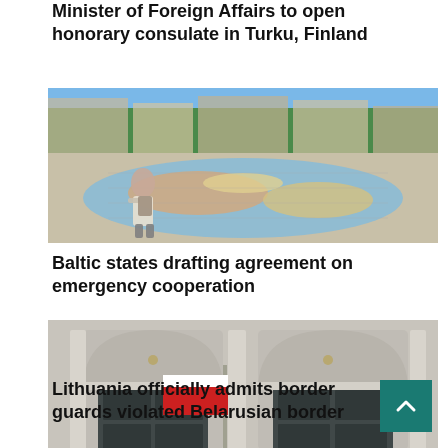Minister of Foreign Affairs to open honorary consulate in Turku, Finland
[Figure (photo): Aerial or wide-angle view of a large outdoor map on the ground with a woman walking on it, surrounded by trees and city buildings in background]
Baltic states drafting agreement on emergency cooperation
[Figure (photo): Building facade with arched windows and a red and white flag (Belarusian flag) hanging between columns]
Lithuania officially admits border guards violated Belarusian border